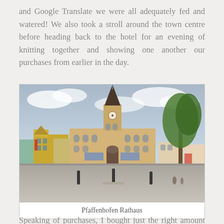and Google Translate we were all adequately fed and watered! We also took a stroll around the town centre before heading back to the hotel for an evening of knitting together and showing one another our purchases from earlier in the day.
[Figure (photo): Photograph of Pfaffenhofen Rathaus (town hall) — a large neogothic sandstone building with a central clock tower and spire, set in a paved town square with bollards in the foreground and trees to the right, other buildings visible on left and right.]
Pfaffenhofen Rathaus
Speaking of purchases, I bought just the right amount for me,